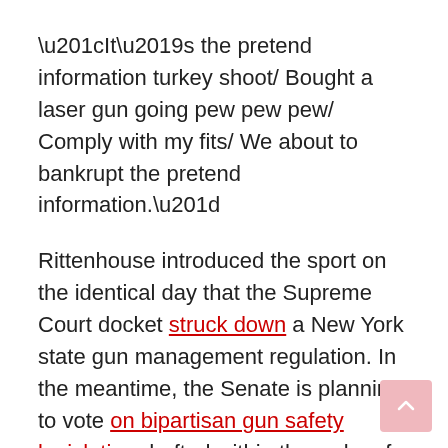“It’s the pretend information turkey shoot/ Bought a laser gun going pew pew pew/ Comply with my fits/ We about to bankrupt the pretend information.”
Rittenhouse introduced the sport on the identical day that the Supreme Court docket struck down a New York state gun management regulation. In the meantime, the Senate is planning to vote on bipartisan gun safety legislation drafted within the wake of mass shootings at an elementary college in Uvalde, Texas, and a grocery retailer in a predominantly Black neighborhood of Buffalo, New York.